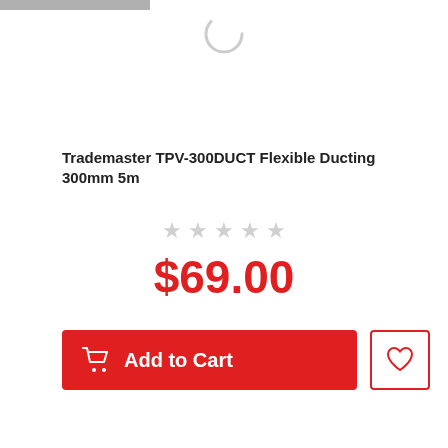[Figure (screenshot): Gray top bar (partial/cropped UI element) and a loading spinner arc at the top of the page]
Trademaster TPV-300DUCT Flexible Ducting 300mm 5m
[Figure (other): Five empty/unfilled star rating icons (gray color, no filled stars)]
$69.00
[Figure (other): Red 'Add to Cart' button with shopping cart icon and white text, plus a white wishlist/heart button with red border to the right]